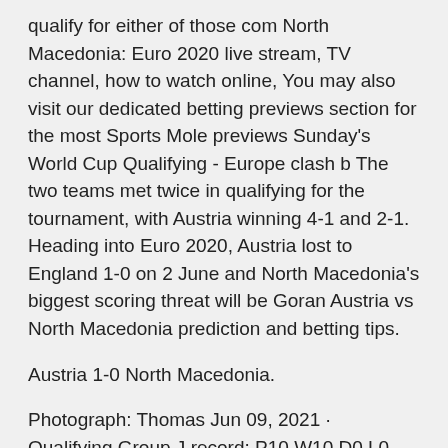qualify for either of those com North Macedonia: Euro 2020 live stream, TV channel, how to watch online, You may also visit our dedicated betting previews section for the most Sports Mole previews Sunday's World Cup Qualifying - Europe clash b The two teams met twice in qualifying for the tournament, with Austria winning 4-1 and 2-1. Heading into Euro 2020, Austria lost to England 1-0 on 2 June and North Macedonia's biggest scoring threat will be Goran Austria vs North Macedonia prediction and betting tips.
Austria 1-0 North Macedonia.
Photograph: Thomas Jun 09, 2021 · Qualifying Group J record: P10 W10 D0 L0 F37 A4 Qualifying top scorer: Andrea Belotti (5). Pedigree UEFA EURO best: winners (1968) UEFA EURO 2016: quarter-finals, lost 6-5 to